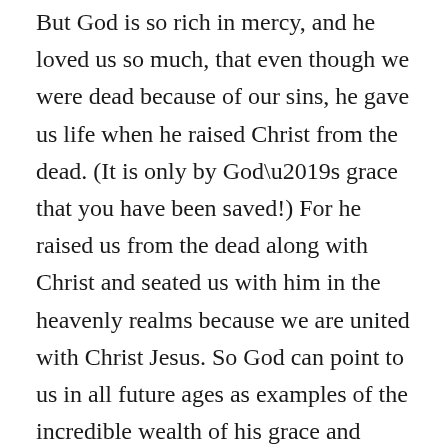But God is so rich in mercy, and he loved us so much, that even though we were dead because of our sins, he gave us life when he raised Christ from the dead. (It is only by God’s grace that you have been saved!) For he raised us from the dead along with Christ and seated us with him in the heavenly realms because we are united with Christ Jesus. So God can point to us in all future ages as examples of the incredible wealth of his grace and kindness toward us, as shown in all he has done for us who are united with Christ Jesus. God saved you by his grace when you believed. And you can’t take credit for this; it is a gift from God. Salvation is not a reward for the good things we have done, so none of us can boast about it. For we are God’s masterpiece. He has created us anew in Christ Jesus, so we can do the good things he planned for us long ago.” — Ephesians 2:1–10